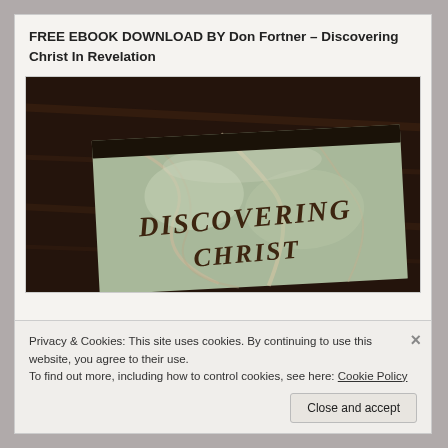FREE EBOOK DOWNLOAD BY Don Fortner – Discovering Christ In Revelation
[Figure (photo): Photo of a book laid on a dark wood surface. The book cover has a stone/marble texture background with the title text 'DISCOVERING CHRIST' visible in a bold stylized font.]
Privacy & Cookies: This site uses cookies. By continuing to use this website, you agree to their use.
To find out more, including how to control cookies, see here: Cookie Policy
Close and accept